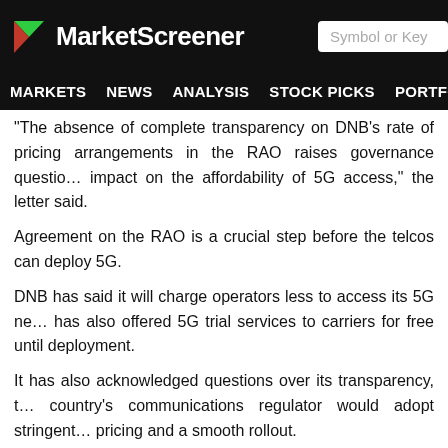MarketScreener | Symbol or Key
MARKETS NEWS ANALYSIS STOCK PICKS PORTFOLIOS WATCHLI
"The absence of complete transparency on DNB's rate of pricing arrangements in the RAO raises governance questions [on its] impact on the affordability of 5G access," the letter said.
Agreement on the RAO is a crucial step before the telcos can deploy 5G.
DNB has said it will charge operators less to access its 5G network. It has also offered 5G trial services to carriers for free until deployment.
It has also acknowledged questions over its transparency, that the country's communications regulator would adopt stringent rules on pricing and a smooth rollout.
The agency began an initial 5G network deployment in December